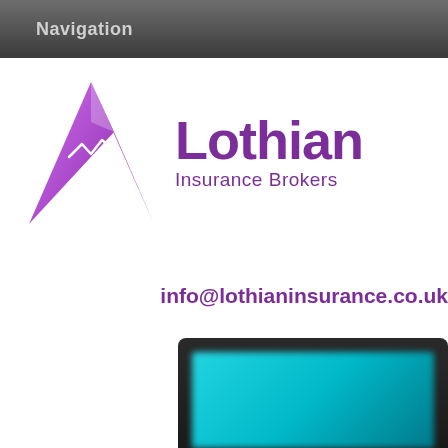Navigation
[Figure (logo): Lothian Insurance Brokers logo with purple mountain/triangle graphic on the left and purple text 'Lothian' in large bold font with 'Insurance Brokers' below it]
info@lothianinsurance.co.uk
[Figure (photo): Partial view of a dark tablet/device showing a teal/cyan colored screen, blurred at the bottom of the page]